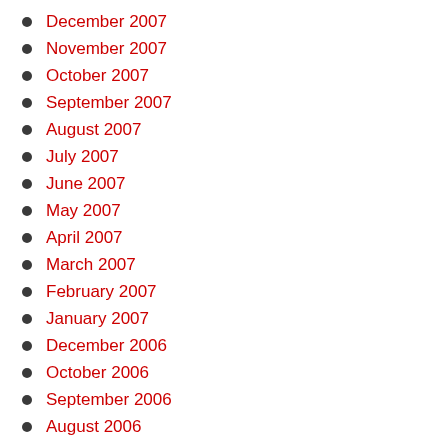December 2007
November 2007
October 2007
September 2007
August 2007
July 2007
June 2007
May 2007
April 2007
March 2007
February 2007
January 2007
December 2006
October 2006
September 2006
August 2006